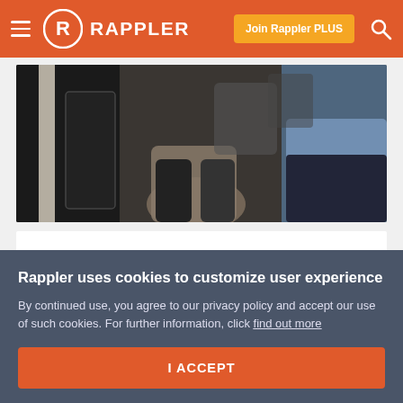Rappler
[Figure (photo): Photo showing people seated, including bags and lower body portions visible]
Leila de Lima, Maute terror group, Fidel Castro | Evening wRap
Nov 28, 2016 - 10:30 PM
Rappler uses cookies to customize user experience
By continued use, you agree to our privacy policy and accept our use of such cookies. For further information, click find out more
I ACCEPT